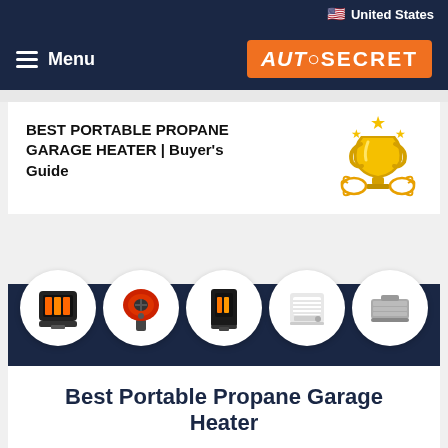United States
≡ Menu | AUTO SECRET
BEST PORTABLE PROPANE GARAGE HEATER | Buyer's Guide
[Figure (photo): Trophy icon with gold stars and laurel wreath]
[Figure (photo): Horizontal banner showing five portable propane heater products in white circles on a dark navy background]
Best Portable Propane Garage Heater